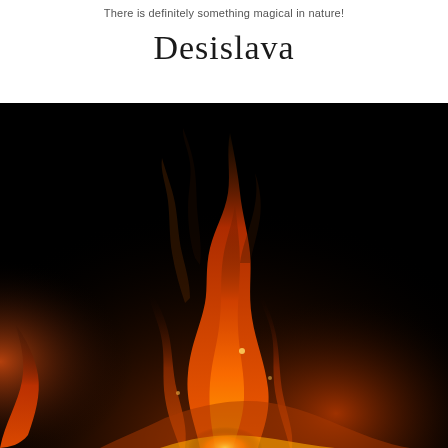There is definitely something magical in nature!
Desislava
[Figure (photo): Close-up photograph of flames against a black background, showing orange and red fire with wispy smoke trails]